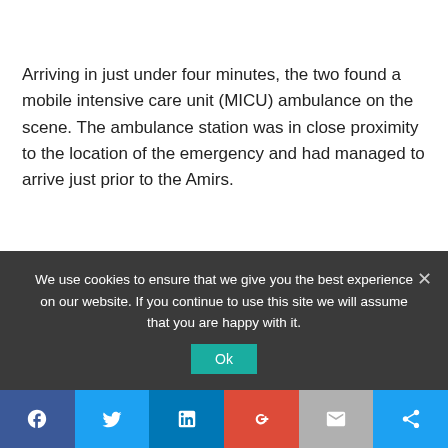Arriving in just under four minutes, the two found a mobile intensive care unit (MICU) ambulance on the scene. The ambulance station was in close proximity to the location of the emergency and had managed to arrive just prior to the Amirs.
Upon entering the apartment, Vered and Yossi found the woman who had already given birth to a baby boy. Immediately recognizing Vered, the frantic mother urged the
We use cookies to ensure that we give you the best experience on our website. If you continue to use this site we will assume that you are happy with it.
[Figure (other): Social media share buttons bar at bottom: Facebook (blue), Twitter (light blue), LinkedIn (blue), Google+ (red), Email (gray), Share (light blue)]